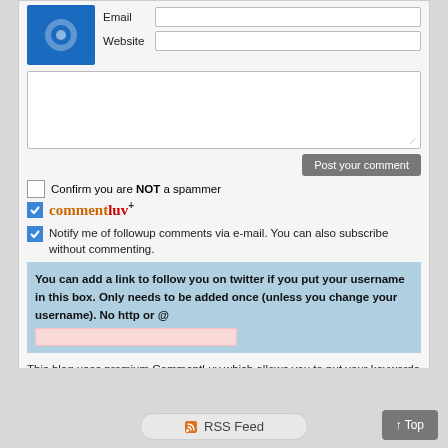[Figure (screenshot): Website comment form with email and website fields, textarea, post button, checkboxes for spam confirmation and CommentLuv, notify checkbox, twitter username box, and CommentLuv info text]
Email
Website
Confirm you are NOT a spammer
commentluv+
Notify me of followup comments via e-mail. You can also subscribe without commenting.
You can add a link to follow you on twitter if you put your username in this box. Only needs to be added once (unless you change your username). No http or @
This blog uses premium CommentLuv which allows you to put your keywords with your name if you have had 3 approved comments. Use your real name and then @ your keywords (maximum of 3)
RSS Feed